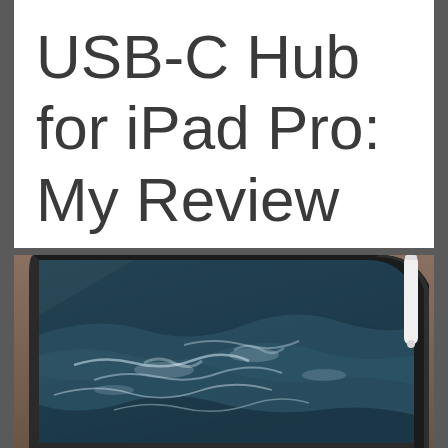USB-C Hub for iPad Pro: My Review
[Figure (photo): Close-up photo of an iPad Pro showing its screen displaying a dark blue ocean/water scene, with a white Apple Pencil visible at the top right edge, resting on a brown textured surface/carpet.]